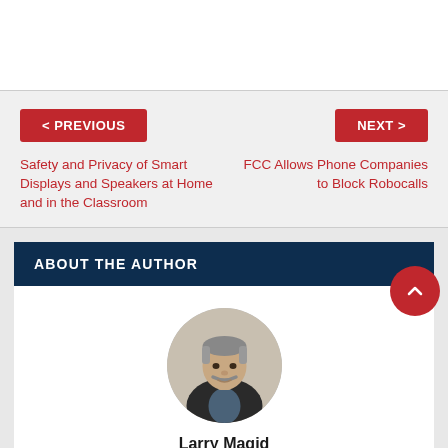< PREVIOUS
NEXT >
Safety and Privacy of Smart Displays and Speakers at Home and in the Classroom
FCC Allows Phone Companies to Block Robocalls
ABOUT THE AUTHOR
[Figure (photo): Headshot of author Larry Magid, a middle-aged man with grey hair and a mustache, wearing a dark jacket]
Larry Magid